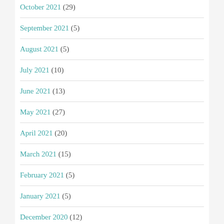October 2021 (29)
September 2021 (5)
August 2021 (5)
July 2021 (10)
June 2021 (13)
May 2021 (27)
April 2021 (20)
March 2021 (15)
February 2021 (5)
January 2021 (5)
December 2020 (12)